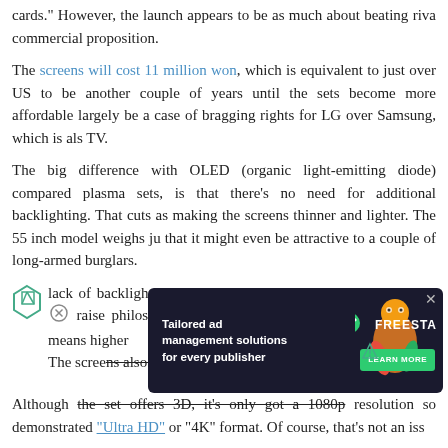cards." However, the launch appears to be as much about beating rivals commercial proposition.
The screens will cost 11 million won, which is equivalent to just over US to be another couple of years until the sets become more affordable largely be a case of bragging rights for LG over Samsung, which is also TV.
The big difference with OLED (organic light-emitting diode) compared plasma sets, is that there's no need for additional backlighting. That cuts as making the screens thinner and lighter. The 55 inch model weighs ju that it might even be attractive to a couple of long-armed burglars.
lack of backlighting also means it's possible to display "black" raise philosophical questions for Spinal Tap. In turn that means higher The screens also have a 180 degree viewing angle.
[Figure (other): Advertisement banner: Tailored ad management solutions for every publisher, FREESTA brand logo, LEARN MORE button, illustrated character graphic. Dark background with teal/green accents.]
Although the set offers 3D, it's only got a 1080p resolution so demonstrated "Ultra HD" or "4K" format. Of course, that's not an iss